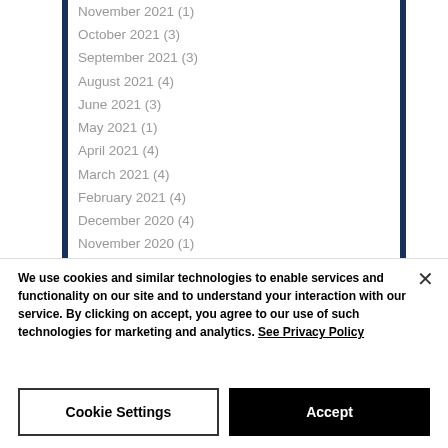November 2021 (1)
October 2021 (3)
September 2021 (3)
August 2021 (4)
June 2021 (3)
May 2021 (1)
April 2021 (4)
March 2021 (4)
February 2021 (4)
December 2020 (4)
November 2020 (1)
October 2020 (2)
We use cookies and similar technologies to enable services and functionality on our site and to understand your interaction with our service. By clicking on accept, you agree to our use of such technologies for marketing and analytics. See Privacy Policy